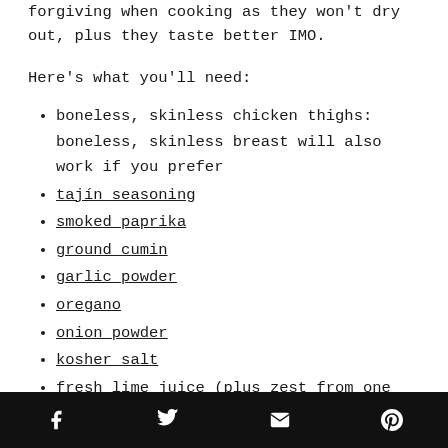forgiving when cooking as they won't dry out, plus they taste better IMO.
Here's what you'll need:
boneless, skinless chicken thighs: boneless, skinless breast will also work if you prefer
tajín seasoning
smoked paprika
ground cumin
garlic powder
oregano
onion powder
kosher salt
fresh lime juice (plus zest from one lime)
1 yellow onion
2 bell peppers, any colour will do
your favourite tortillas
Social share bar: Facebook, Twitter, Email, Pinterest